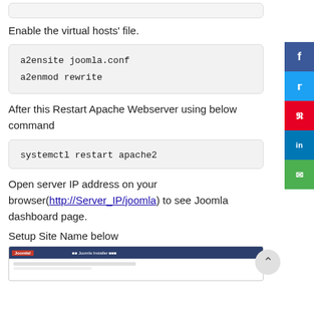Enable the virtual hosts’ file.
a2ensite joomla.conf
a2enmod rewrite
After this Restart Apache Webserver using below command
systemctl restart apache2
Open server IP address on your browser(http://Server_IP/joomla) to see Joomla dashboard page.
Setup Site Name below
[Figure (screenshot): Joomla installer dashboard screenshot showing browser with Joomla installer page]